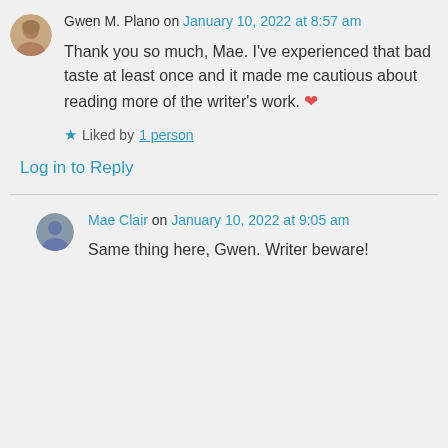Gwen M. Plano on January 10, 2022 at 8:57 am
Thank you so much, Mae. I've experienced that bad taste at least once and it made me cautious about reading more of the writer's work. ❤️
Liked by 1 person
Log in to Reply
Mae Clair on January 10, 2022 at 9:05 am
Same thing here, Gwen. Writer beware!